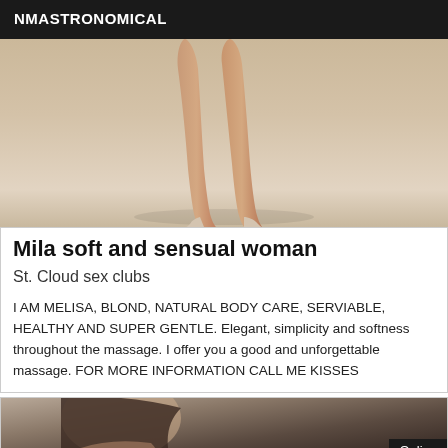NMASTRONOMICAL
[Figure (photo): Photo showing legs of a woman in high heels against a light beige background]
Mila soft and sensual woman
St. Cloud sex clubs
I AM MELISA, BLOND, NATURAL BODY CARE, SERVIABLE, HEALTHY AND SUPER GENTLE. Elegant, simplicity and softness throughout the massage. I offer you a good and unforgettable massage. FOR MORE INFORMATION CALL ME KISSES
[Figure (photo): Partial photo of a woman's face and upper body, with an 'Online' badge in the bottom right corner]